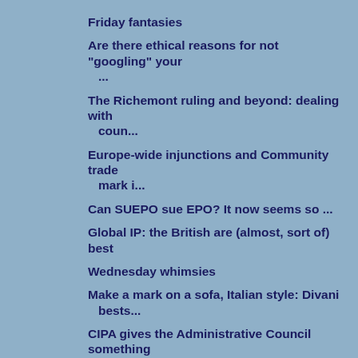Friday fantasies
Are there ethical reasons for not "googling" your ...
The Richemont ruling and beyond: dealing with coun...
Europe-wide injunctions and Community trade mark i...
Can SUEPO sue EPO? It now seems so ...
Global IP: the British are (almost, sort of) best
Wednesday whimsies
Make a mark on a sofa, Italian style: Divani bests...
CIPA gives the Administrative Council something to...
Jurisdiction in online Community trade mark infrin...
Random thoughts on Ms Swift's "sick" trade marks
Monday miscellany